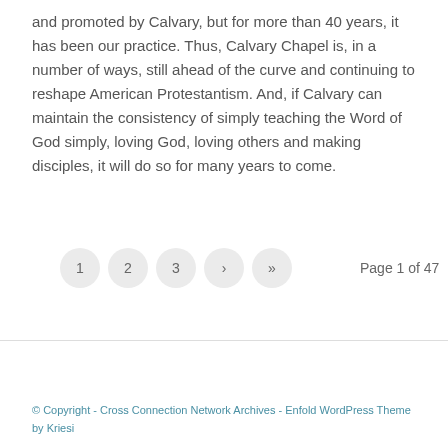and promoted by Calvary, but for more than 40 years, it has been our practice. Thus, Calvary Chapel is, in a number of ways, still ahead of the curve and continuing to reshape American Protestantism. And, if Calvary can maintain the consistency of simply teaching the Word of God simply, loving God, loving others and making disciples, it will do so for many years to come.
Page navigation: 1, 2, 3, ›, » — Page 1 of 47
© Copyright - Cross Connection Network Archives - Enfold WordPress Theme by Kriesi